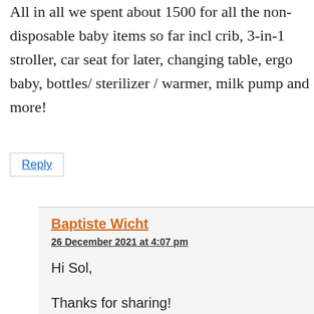All in all we spent about 1500 for all the non-disposable baby items so far incl crib, 3-in-1 stroller, car seat for later, changing table, ergo baby, bottles/ sterilizer / warmer, milk pump and more!
Reply
Baptiste Wicht
26 December 2021 at 4:07 pm
Hi Sol,
Thanks for sharing!